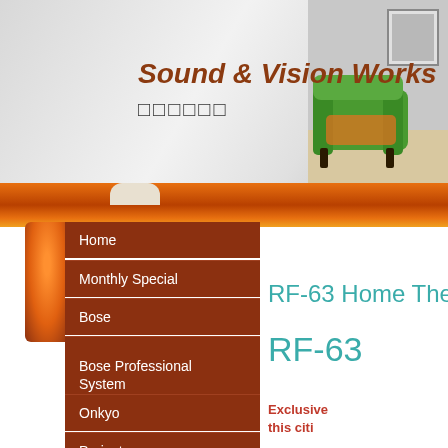Sound & Vision Works
□□□□□□
Home
Monthly Special
Bose
Bose Professional System
Onkyo
Projector
Lyngdorf
Speaker +
RF-63 Home Thea
RF-63
Exclusive this citi